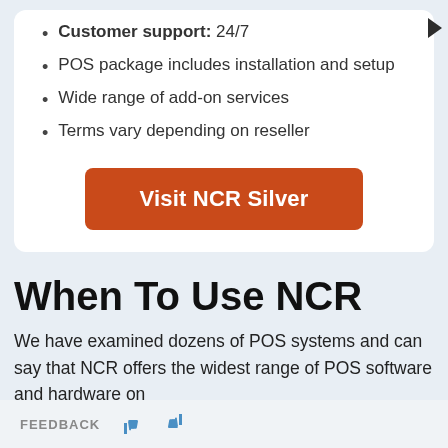Customer support: 24/7
POS package includes installation and setup
Wide range of add-on services
Terms vary depending on reseller
[Figure (other): Orange button labeled 'Visit NCR Silver']
When To Use NCR
We have examined dozens of POS systems and can say that NCR offers the widest range of POS software and hardware on
FEEDBACK [thumbs up] [thumbs down]